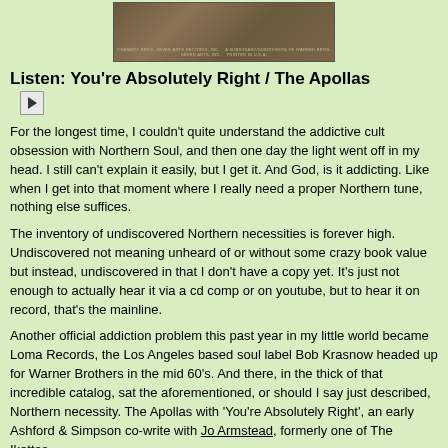[Figure (photo): Back of a vinyl record sleeve showing label text at bottom, brownish/tan color]
Listen: You're Absolutely Right / The Apollas
[Figure (other): Play button icon]
For the longest time, I couldn't quite understand the addictive cult obsession with Northern Soul, and then one day the light went off in my head. I still can't explain it easily, but I get it. And God, is it addicting. Like when I get into that moment where I really need a proper Northern tune, nothing else suffices.
The inventory of undiscovered Northern necessities is forever high. Undiscovered not meaning unheard of or without some crazy book value but instead, undiscovered in that I don't have a copy yet. It's just not enough to actually hear it via a cd comp or on youtube, but to hear it on record, that's the mainline.
Another official addiction problem this past year in my little world became Loma Records, the Los Angeles based soul label Bob Krasnow headed up for Warner Brothers in the mid 60's. And there, in the thick of that incredible catalog, sat the aforementioned, or should I say just described, Northern necessity. The Apollas with 'You're Absolutely Right', an early Ashford & Simpson co-write with Jo Armstead, formerly one of The Ikettes.
And this devil escaped me for months on eBay, I kept getting outbid by a dollar or two. Until I'd had quite enough and eSniped a crazy high limit price, resulting in this one coming in about a minute and a half, while at any mint with Mo...